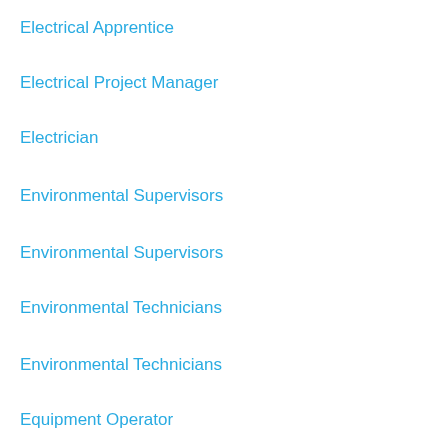Electrical Apprentice
Electrical Project Manager
Electrician
Environmental Supervisors
Environmental Supervisors
Environmental Technicians
Environmental Technicians
Equipment Operator